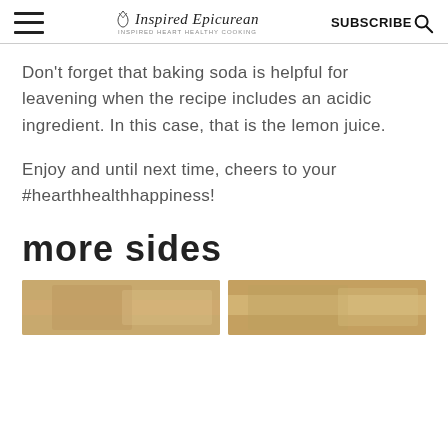Inspired Epicurean | SUBSCRIBE
Don’t forget that baking soda is helpful for leavening when the recipe includes an acidic ingredient. In this case, that is the lemon juice.
Enjoy and until next time, cheers to your #hearthhealthhappiness!
more sides
[Figure (photo): Food photo on the left showing a baked/cooked dish]
[Figure (photo): Food photo on the right showing a baked/cooked dish]